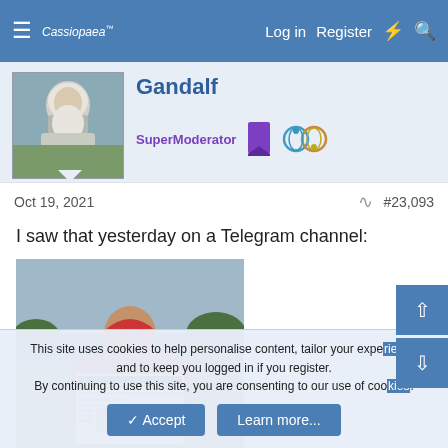Cassiopaea  Log in  Register
Gandalf
SuperModerator
Oct 19, 2021  #23,093
I saw that yesterday on a Telegram channel:
[Figure (photo): Person wearing red hoodie holding up a newspaper outdoors]
This site uses cookies to help personalise content, tailor your experience and to keep you logged in if you register. By continuing to use this site, you are consenting to our use of cookies.
Accept  Learn more...